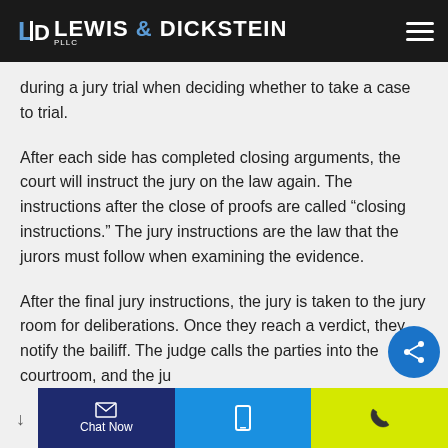Lewis & Dickstein PLLC
during a jury trial when deciding whether to take a case to trial.
After each side has completed closing arguments, the court will instruct the jury on the law again. The instructions after the close of proofs are called “closing instructions.” The jury instructions are the law that the jurors must follow when examining the evidence.
After the final jury instructions, the jury is taken to the jury room for deliberations. Once they reach a verdict, they notify the bailiff. The judge calls the parties into the courtroom, and the ju
Chat Now